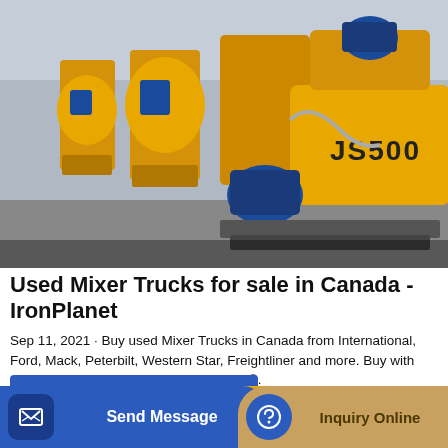[Figure (photo): Row of yellow JS500 twin-shaft concrete mixer machines lined up in a warehouse/outdoor lot, with blue motors visible]
Used Mixer Trucks for sale in Canada - IronPlanet
Sep 11, 2021 · Buy used Mixer Trucks in Canada from International, Ford, Mack, Peterbilt, Western Star, Freightliner and more. Buy with confidence with our IronClad Assurance®.
GET A QUOTE
Send Message
Inquiry Online